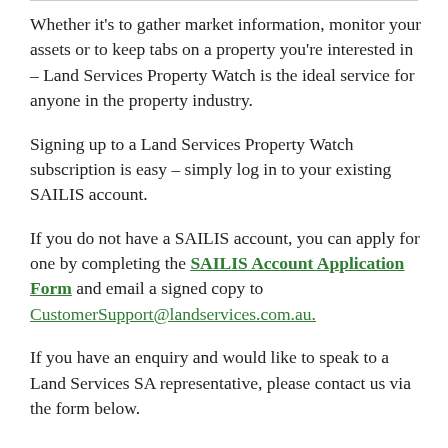Whether it's to gather market information, monitor your assets or to keep tabs on a property you're interested in – Land Services Property Watch is the ideal service for anyone in the property industry.
Signing up to a Land Services Property Watch subscription is easy – simply log in to your existing SAILIS account.
If you do not have a SAILIS account, you can apply for one by completing the SAILIS Account Application Form and email a signed copy to CustomerSupport@landservices.com.au.
If you have an enquiry and would like to speak to a Land Services SA representative, please contact us via the form below.